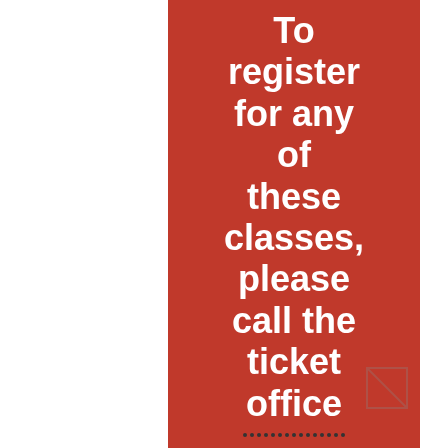To register for any of these classes, please call the ticket office at 309-786-7733 ext. 2. All particip